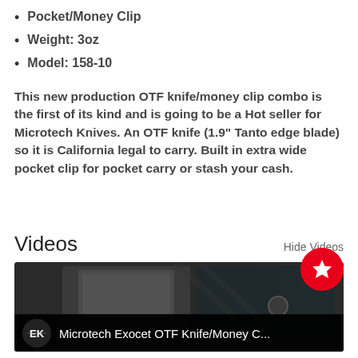Pocket/Money Clip
Weight: 3oz
Model: 158-10
This new production OTF knife/money clip combo is the first of its kind and is going to be a Hot seller for Microtech Knives. An OTF knife (1.9" Tanto edge blade) so it is California legal to carry. Built in extra wide pocket clip for pocket carry or stash your cash.
Videos
Hide Videos
[Figure (screenshot): Video thumbnail showing Microtech Exocet OTF Knife/Money Clip product video with logo and title bar overlay, and a red star badge in the top right corner]